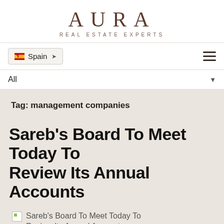AURA
REAL ESTATE EXPERTS
Spain ▾
All ▾
Tag: management companies
Sareb's Board To Meet Today To Review Its Annual Accounts
[Figure (photo): Broken image placeholder for Sareb's Board To Meet Today To Review Its Annual Accounts article thumbnail]
Sareb's Board To Meet Today To Review Its Annual Accounts